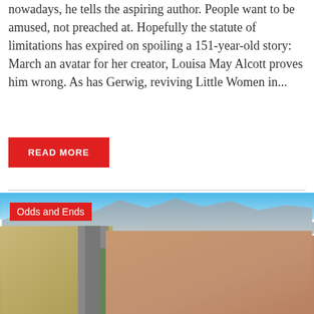nowadays, he tells the aspiring author. People want to be amused, not preached at. Hopefully the statute of limitations has expired on spoiling a 151-year-old story: March an avatar for her creator, Louisa May Alcott proves him wrong. As has Gerwig, reviving Little Women in...
READ MORE
[Figure (photo): Aerial photograph showing a desert landscape on the left side with a highway/freeway and suburban residential developments on the right, with mountains visible in the background under a blue sky. Category badge 'Odds and Ends' overlaid in red at top left.]